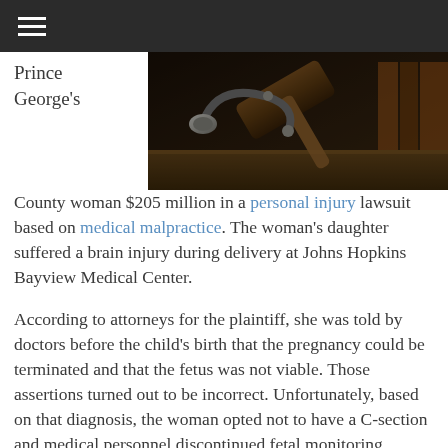≡ (navigation menu)
[Figure (photo): Close-up photo of a judge's gavel and stethoscope on a wooden surface, dimly lit]
Prince George's County woman $205 million in a personal injury lawsuit based on medical malpractice. The woman's daughter suffered a brain injury during delivery at Johns Hopkins Bayview Medical Center.
According to attorneys for the plaintiff, she was told by doctors before the child's birth that the pregnancy could be terminated and that the fetus was not viable. Those assertions turned out to be incorrect. Unfortunately, based on that diagnosis, the woman opted not to have a C-section and medical personnel discontinued fetal monitoring.